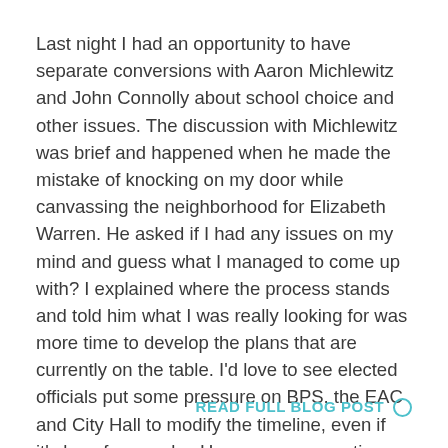Last night I had an opportunity to have separate conversions with Aaron Michlewitz and John Connolly about school choice and other issues. The discussion with Michlewitz was brief and happened when he made the mistake of knocking on my door while canvassing the neighborhood for Elizabeth Warren. He asked if I had any issues on my mind and guess what I managed to come up with? I explained where the process stands and told him what I was really looking for was more time to develop the plans that are currently on the table. I'd love to see elected officials put some pressure on BPS, the EAC and City Hall to modify the timeline, even if it's by a few weeks. He was very receptive, but of course it's a city issue not a state issue so I'm not sure where it will go.
...
READ FULL BLOG POST